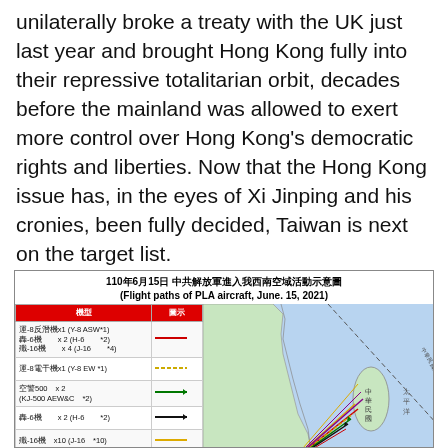unilaterally broke a treaty with the UK just last year and brought Hong Kong fully into their repressive totalitarian orbit, decades before the mainland was allowed to exert more control over Hong Kong's democratic rights and liberties. Now that the Hong Kong issue has, in the eyes of Xi Jinping and his cronies, been fully decided, Taiwan is next on the target list.
[Figure (map): Map showing flight paths of PLA aircraft on June 15, 2021, entering Taiwan's southwest air defense identification zone. Title in Chinese and English. Legend table on left listing aircraft types: Y-8 ASW*1, H-6 *2, J-16 *4, Y-8 EW *1, KJ-500 AEW&C *2, H-6 *2, J-16 *10, J-11 *6. Map shows Taiwan island, surrounding waters (South China Sea, Pacific Ocean), and colored flight path lines emanating from southwest of Taiwan.]